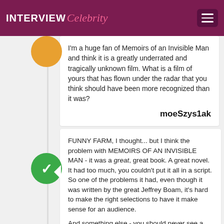INTERVIEW Celebrity
I'm a huge fan of Memoirs of an Invisible Man and think it is a greatly underrated and tragically unknown film. What is a film of yours that has flown under the radar that you think should have been more recognized than it was?
moeSzys1ak
FUNNY FARM, I thought... but I think the problem with MEMOIRS OF AN INVISIBLE MAN - it was a great, great book. A great novel. It had too much, you couldn't put it all in a script. So one of the problems it had, even though it was written by the great Jeffrey Boam, it's hard to make the right selections to have it make sense for an audience.

And something else - you should never see a movie that has the word "memoirs" in it. Doesn't sound like it's got a lot of action. HAHAHA!